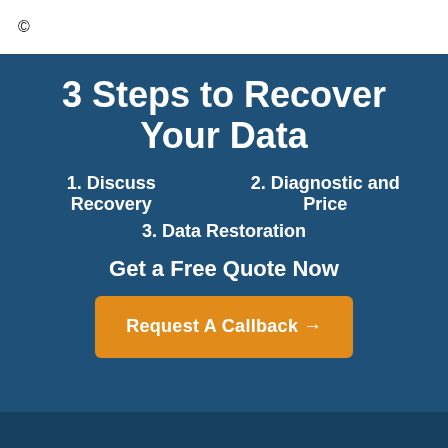©
3 Steps to Recover Your Data
1. Discuss Recovery    2. Diagnostic and Price
3. Data Restoration
Get a Free Quote Now
Request A Callback →